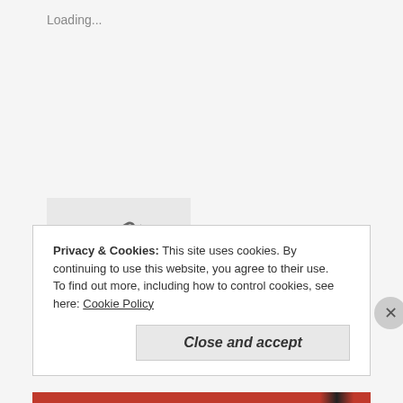Loading...
[Figure (illustration): Grey box with a chain link / infinity-style icon]
Posted in Waste Free Thoughts
Tagged livingwastefree, waste free, zero waste, zero waste travel, Zero-Waste Essentials
Privacy & Cookies: This site uses cookies. By continuing to use this website, you agree to their use.
To find out more, including how to control cookies, see here: Cookie Policy
Close and accept